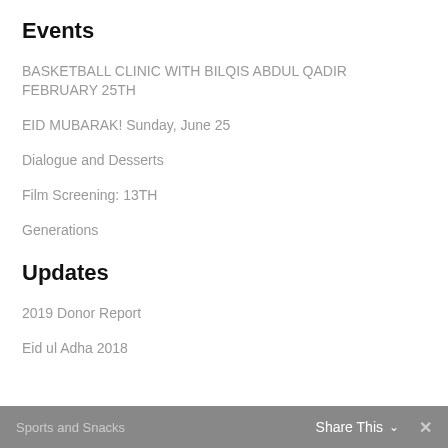Events
BASKETBALL CLINIC WITH BILQIS ABDUL QADIR
FEBRUARY 25TH
EID MUBARAK! Sunday, June 25
Dialogue and Desserts
Film Screening: 13TH
Generations
Updates
2019 Donor Report
Eid ul Adha 2018
Sports and Snacks   Share This ∨   ✕